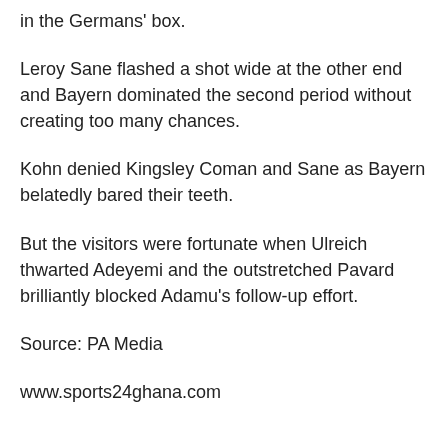in the Germans' box.
Leroy Sane flashed a shot wide at the other end and Bayern dominated the second period without creating too many chances.
Kohn denied Kingsley Coman and Sane as Bayern belatedly bared their teeth.
But the visitors were fortunate when Ulreich thwarted Adeyemi and the outstretched Pavard brilliantly blocked Adamu's follow-up effort.
Source: PA Media
www.sports24ghana.com